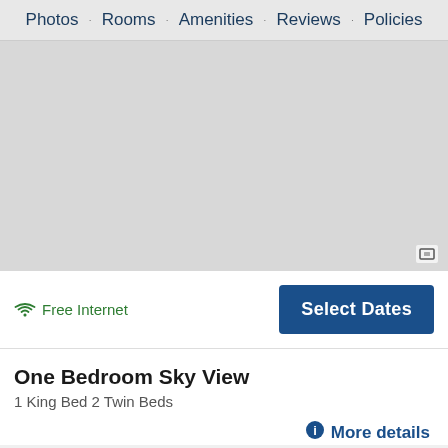Photos · Rooms · Amenities · Reviews · Policies
[Figure (photo): Gray placeholder area for hotel room photo with expand icon in bottom right corner]
Free Internet
Select Dates
One Bedroom Sky View
1 King Bed 2 Twin Beds
More details
[Figure (photo): Photo of room (broken image link shown)]